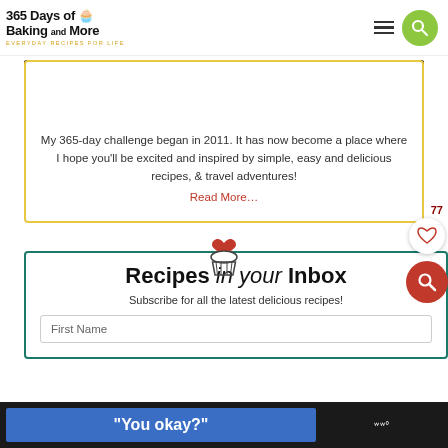365 Days of Baking and More — EVERYDAY RECIPES FOR LIFE
[Figure (photo): Photo of a stove/cooking surface with steam, dark kitchen background]
My 365-day challenge began in 2011. It has now become a place where I hope you'll be excited and inspired by simple, easy and delicious recipes, & travel adventures!
Read More…
[Figure (illustration): Cupcake icon with heart on top, used as section divider]
Recipes in your Inbox
Subscribe for all the latest delicious recipes!
First Name
"You okay?"